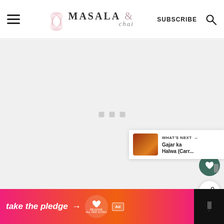MASALA & chai — SUBSCRIBE — navigation header
[Figure (screenshot): Loading/blank gray content area with three small gray loading indicator squares in the center]
[Figure (other): Circular dark green heart/save button (FAB)]
[Figure (other): Circular white share button (FAB)]
[Figure (other): What's Next panel showing thumbnail of Indian dish and text 'WHAT'S NEXT → Gajar ka Halwa (Carr...']
[Figure (other): Moat analytics pixel logo]
[Figure (other): Advertisement banner: 'take the pledge →' with Release app logo and ad badge]